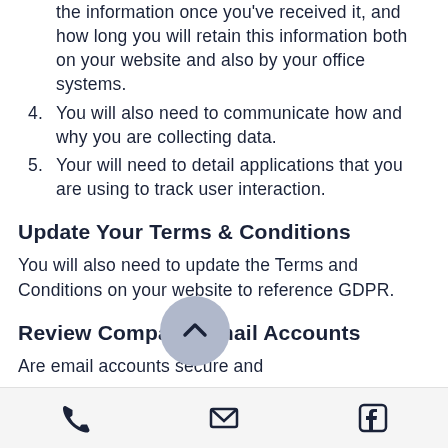the information once you've received it, and how long you will retain this information both on your website and also by your office systems.
4. You will also need to communicate how and why you are collecting data.
5. Your will need to detail applications that you are using to track user interaction.
Update Your Terms & Conditions
You will also need to update the Terms and Conditions on your website to reference GDPR.
Review Company Email Accounts
Are email accounts secure and
phone | email | facebook